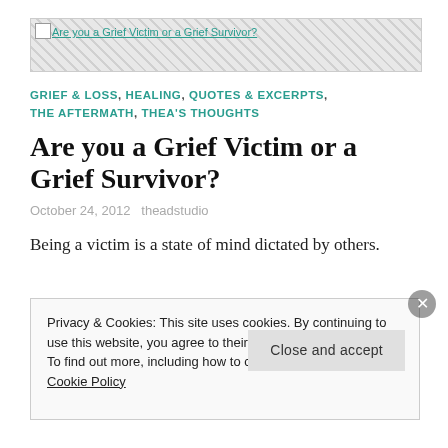[Figure (photo): Banner image for 'Are you a Grief Victim or a Grief Survivor?' article, shown as broken/loading image placeholder with link text]
GRIEF & LOSS, HEALING, QUOTES & EXCERPTS, THE AFTERMATH, THEA'S THOUGHTS
Are you a Grief Victim or a Grief Survivor?
October 24, 2012   theadstudio
Being a victim is a state of mind dictated by others.
Privacy & Cookies: This site uses cookies. By continuing to use this website, you agree to their use.
To find out more, including how to control cookies, see here: Cookie Policy
Close and accept